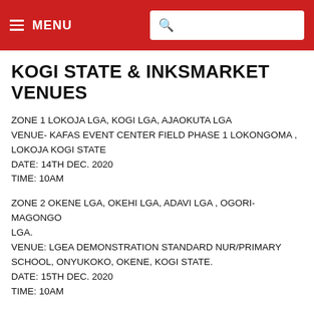MENU [search bar]
KOGI STATE & INKSMARKET VENUES
ZONE 1 LOKOJA LGA, KOGI LGA, AJAOKUTA LGA
VENUE- KAFAS EVENT CENTER FIELD PHASE 1 LOKONGOMA , LOKOJA KOGI STATE
DATE: 14TH DEC. 2020
TIME: 10AM
ZONE 2 OKENE LGA, OKEHI LGA, ADAVI LGA , OGORI- MAGONGO LGA.
VENUE: LGEA DEMONSTRATION STANDARD NUR/PRIMARY SCHOOL, ONYUKOKO, OKENE, KOGI STATE.
DATE: 15TH DEC. 2020
TIME: 10AM